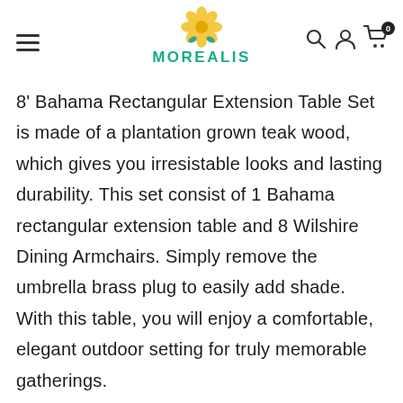MOREALIS
8' Bahama Rectangular Extension Table Set is made of a plantation grown teak wood, which gives you irresistable looks and lasting durability. This set consist of 1 Bahama rectangular extension table and 8 Wilshire Dining Armchairs. Simply remove the umbrella brass plug to easily add shade. With this table, you will enjoy a comfortable, elegant outdoor setting for truly memorable gatherings.